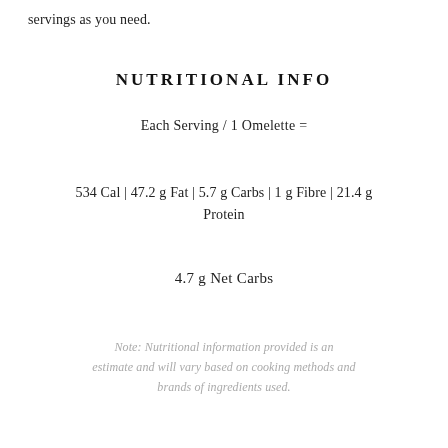servings as you need.
NUTRITIONAL INFO
Each Serving / 1 Omelette =
534 Cal | 47.2 g Fat | 5.7 g Carbs | 1 g Fibre | 21.4 g Protein
4.7 g Net Carbs
Note: Nutritional information provided is an estimate and will vary based on cooking methods and brands of ingredients used.